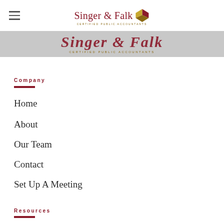[Figure (logo): Singer & Falk Certified Public Accountants logo with diamond geometric icon in dark red and gold, shown twice — once in a top navigation bar and once in a gray banner overlay below it.]
Company
Home
About
Our Team
Contact
Set Up A Meeting
Resources